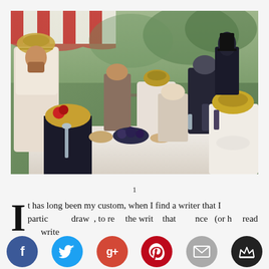[Figure (illustration): Renoir's 'Luncheon of the Boating Party' painting showing a group of people dining on a terrace by the water, with food, wine, and lively conversation.]
1
It has long been my custom, when I find a writer that I am particularly drawn to, to read the writer that influenced (or h read writer
[Figure (infographic): Social media sharing buttons row: Facebook (blue), Twitter (blue), Google+ (red), Pinterest (red), Email (grey), Crown/other (dark)]